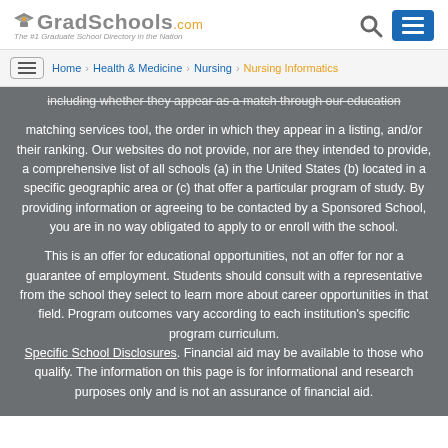GradSchools.com — The #1 Graduate School Directory in the Nation
Home > Health & Medicine > Nursing > Nursing Informatics
including whether they appear as a match through our education matching services tool, the order in which they appear in a listing, and/or their ranking. Our websites do not provide, nor are they intended to provide, a comprehensive list of all schools (a) in the United States (b) located in a specific geographic area or (c) that offer a particular program of study. By providing information or agreeing to be contacted by a Sponsored School, you are in no way obligated to apply to or enroll with the school.
This is an offer for educational opportunities, not an offer for nor a guarantee of employment. Students should consult with a representative from the school they select to learn more about career opportunities in that field. Program outcomes vary according to each institution's specific program curriculum. Specific School Disclosures. Financial aid may be available to those who qualify. The information on this page is for informational and research purposes only and is not an assurance of financial aid.